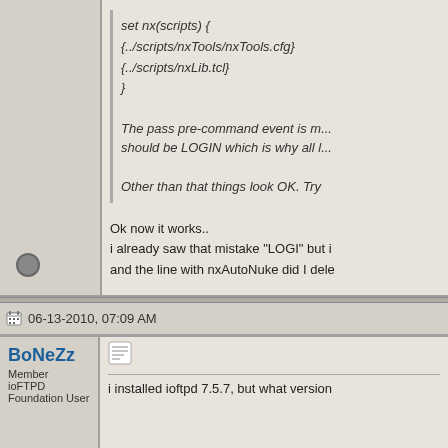set nx(scripts) {
{../scripts/nxTools/nxTools.cfg}
{../scripts/nxLib.tcl}
}
The pass pre-command event is m... should be LOGIN which is why all l...
Other than that things look OK. Try
Ok now it works..
i already saw that mistake "LOGI" but i
and the line with nxAutoNuke did I dele
06-13-2010, 07:09 AM
BoNeZz
Member
ioFTPD Foundation User
i installed ioftpd 7.5.7, but what version